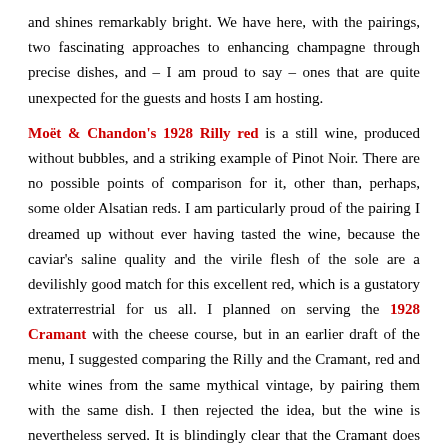and shines remarkably bright. We have here, with the pairings, two fascinating approaches to enhancing champagne through precise dishes, and – I am proud to say – ones that are quite unexpected for the guests and hosts I am hosting.
Moët & Chandon's 1928 Rilly red is a still wine, produced without bubbles, and a striking example of Pinot Noir. There are no possible points of comparison for it, other than, perhaps, some older Alsatian reds. I am particularly proud of the pairing I dreamed up without ever having tasted the wine, because the caviar's saline quality and the virile flesh of the sole are a devilishly good match for this excellent red, which is a gustatory extraterrestrial for us all. I planned on serving the 1928 Cramant with the cheese course, but in an earlier draft of the menu, I suggested comparing the Rilly and the Cramant, red and white wines from the same mythical vintage, by pairing them with the same dish. I then rejected the idea, but the wine is nevertheless served. It is blindingly clear that the Cramant does not pair well at all with the dish, a clash that gives an even stronger sense of how well the red goes with the caviar. Another 1928 Cramant is opened later to reach its desired destination.